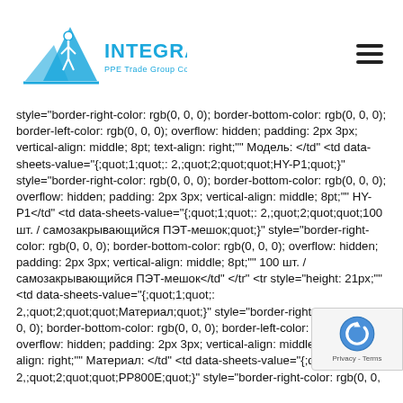[Figure (logo): IntegraWay PPE Trade Group Co. Ltd. logo with blue figure and mountain graphic]
style="border-right-color: rgb(0, 0, 0); border-bottom-color: rgb(0, 0, 0); border-left-color: rgb(0, 0, 0); overflow: hidden; padding: 2px 3px; vertical-align: middle; 8pt; text-align: right;"" Модель: </td" <td data-sheets-value="{;quot;1;quot;: 2,;quot;2;quot;quot;HY-P1;quot;}" style="border-right-color: rgb(0, 0, 0); border-bottom-color: rgb(0, 0, 0); overflow: hidden; padding: 2px 3px; vertical-align: middle; 8pt;"" HY-P1</td" <td data-sheets-value="{;quot;1;quot;: 2,;quot;2;quot;quot;100 шт. / самозакрывающийся ПЭТ-мешок;quot;}" style="border-right-color: rgb(0, 0, 0); border-bottom-color: rgb(0, 0, 0); overflow: hidden; padding: 2px 3px; vertical-align: middle; 8pt;"" 100 шт. / самозакрывающийся ПЭТ-мешок</td" </tr" <tr style="height: 21px;"" <td data-sheets-value="{;quot;1;quot;: 2,;quot;2;quot;quot;Материал;quot;}" style="border-right-color: rgb(0, 0, 0); border-bottom-color: rgb(0, 0, 0); border-left-color: rgb(0, 0, 0); overflow: hidden; padding: 2px 3px; vertical-align: middle; 8pt; text-align: right;"" Материал: </td" <td data-sheets-value="{;quot;1;quot;: 2,;quot;2;quot;quot;PP800E;quot;}" style="border-right-color: rgb(0, 0, 0); border-bottom-col rgb(0, 0, 0); overflow: hidden; padding: 2px 3px; vertical- middle; 8pt;"" PP800E</td" <td data-sheets-value=" {;quot;1;quot;: 2,;quot;2;quot;quot;15 ПЭТ мешок /